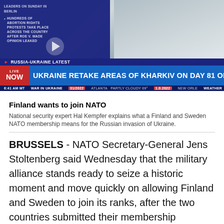[Figure (screenshot): News broadcast screenshot showing CNN headline: UKRAINE RETAKE AREAS OF KHARKIV ON DAY 81 OF WAR with RUSSIA-UKRAINE LATEST banner and news ticker at bottom]
Finland wants to join NATO
National security expert Hal Kempfer explains what a Finland and Sweden NATO membership means for the Russian invasion of Ukraine.
BRUSSELS - NATO Secretary-General Jens Stoltenberg said Wednesday that the military alliance stands ready to seize a historic moment and move quickly on allowing Finland and Sweden to join its ranks, after the two countries submitted their membership requests.
The official applications, handed over by Finland and Sweden's ambassadors to NATO, set a security clock ticking. Russia, whose war on Ukraine spurred them to